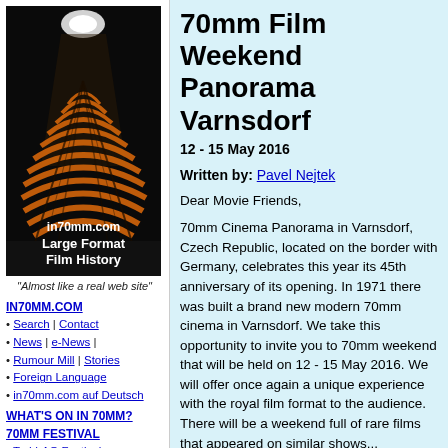[Figure (photo): in70mm.com logo with cinema interior image and text 'Large Format Film History']
"Almost like a real web site"
IN70MM.COM
Search | Contact
News | e-News |
Rumour Mill | Stories
Foreign Language
in70mm.com auf Deutsch
WHAT'S ON IN 70MM?
70MM FESTIVAL
Todd-AO Festival
KRRR! 70MM Seminar
Oslo 70MM Festival
Widescreen Weekend
70mm Film Weekend Panorama Varnsdorf
12 - 15 May 2016
Written by: Pavel Nejtek
Dear Movie Friends,
70mm Cinema Panorama in Varnsdorf, Czech Republic, located on the border with Germany, celebrates this year its 45th anniversary of its opening. In 1971 there was built a brand new modern 70mm cinema in Varnsdorf. We take this opportunity to invite you to 70mm weekend that will be held on 12 - 15 May 2016. We will offer once again a unique experience with the royal film format to the audience. There will be a weekend full of rare films that appeared on similar shows...